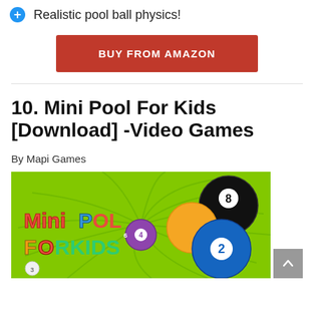Realistic pool ball physics!
BUY FROM AMAZON
10. Mini Pool For Kids [Download] -Video Games
By Mapi Games
[Figure (illustration): Mini Pool For Kids game cover art showing colorful pool balls numbered 2, 4, 6, 8 on a green swirling background with the text MiniPool ForKids in colorful letters]